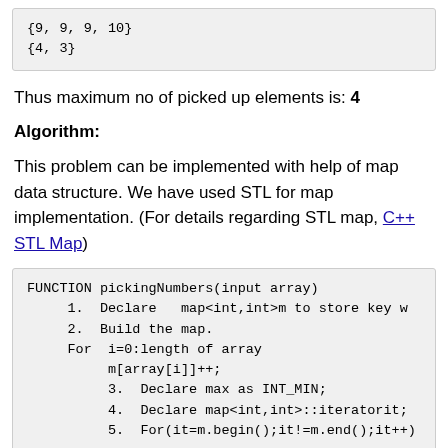{9, 9, 9, 10}
{4, 3}
Thus maximum no of picked up elements is: 4
Algorithm:
This problem can be implemented with help of map data structure. We have used STL for map implementation. (For details regarding STL map, C++ STL Map)
FUNCTION pickingNumbers(input array)
    1.  Declare   map<int,int>m to store key w
    2.  Build the map.
    For  i=0:length of array
         m[array[i]]++;
         3.  Declare max as INT_MIN;
         4.  Declare map<int,int>::iteratorit;
         5.  For(it=m.begin();it!=m.end();it++)